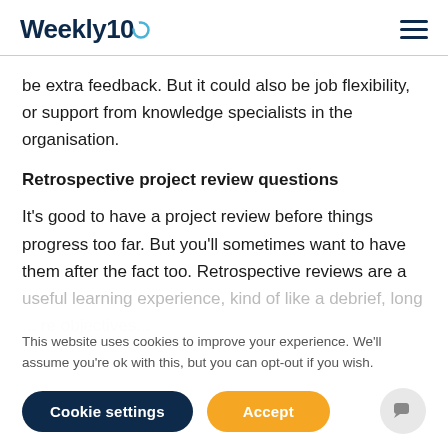Weekly10
be extra feedback. But it could also be job flexibility, or support from knowledge specialists in the organisation.
Retrospective project review questions
It's good to have a project review before things progress too far. But you'll sometimes want to have them after the fact too. Retrospective reviews are a useful learning experience, kind of like a debrief, long ... re objectives...
This website uses cookies to improve your experience. We'll assume you're ok with this, but you can opt-out if you wish.